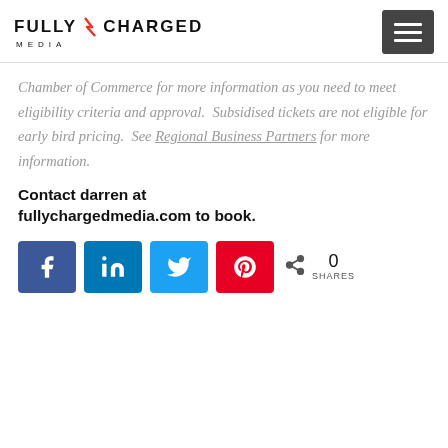FULLY CHARGED MEDIA
Chamber of Commerce for more information as you need to meet eligibility criteria and approval.  Subsidised tickets are not eligible for early bird pricing.  See Regional Business Partners for more information.
Contact darren at fullychargedmedia.com to book.
[Figure (infographic): Social share buttons: Facebook, LinkedIn, Twitter, Pinterest; share count: 0 SHARES]